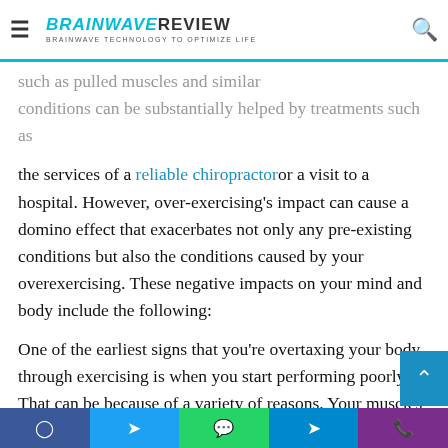BRAINWAVE REVIEW — BRAINWAVE TECHNOLOGY TO OPTIMIZE LIFE
the services of a reliable chiropractor or a visit to a hospital. However, over-exercising's impact can cause a domino effect that exacerbates not only any pre-existing conditions but also the conditions caused by your overexercising. These negative impacts on your mind and body include the following:
One of the earliest signs that you're overtaxing your body through exercising is when you start performing poorly. That can be because of a variety of reasons. Your muscles may be too sore for you to do as many repetitions as you like, or maybe you're not feeling as mentally motivated. You'll most likely notice a decrease in your performance levels in endurance-based training focusing on your cardiovascular system.
Facebook | Twitter | WhatsApp | Telegram | Phone